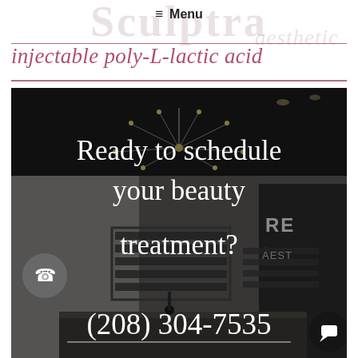Sculptra aesthetic — Menu
injectable poly-L-lactic acid
[Figure (photo): Interior photo of a modern medical aesthetics clinic reception area with dark ceiling, sputnik chandelier, and 'RE AEST' signage visible. White text overlay reads 'Ready to schedule your beauty treatment?' with phone number (208) 304-7535. A phone icon circle is visible on the left and a chat icon circle on the lower right.]